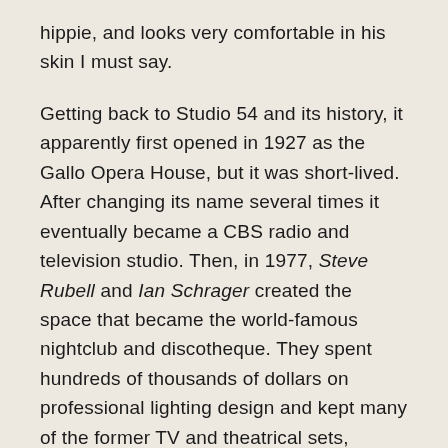hippie, and looks very comfortable in his skin I must say.
Getting back to Studio 54 and its history, it apparently first opened in 1927 as the Gallo Opera House, but it was short-lived. After changing its name several times it eventually became a CBS radio and television studio. Then, in 1977, Steve Rubell and Ian Schrager created the space that became the world-famous nightclub and discotheque. They spent hundreds of thousands of dollars on professional lighting design and kept many of the former TV and theatrical sets, creating a unique dance club that became famous for its celebrity guest lists and restrictive (and subjective) entry policies, based on appearance and style.